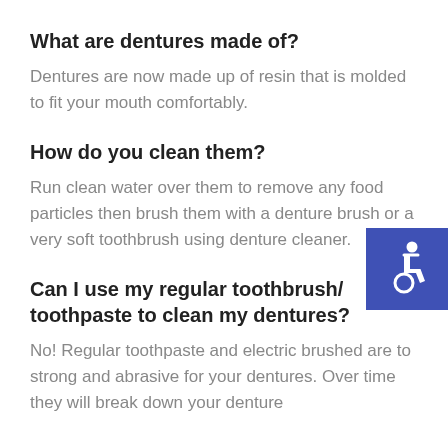What are dentures made of?
Dentures are now made up of resin that is molded to fit your mouth comfortably.
How do you clean them?
Run clean water over them to remove any food particles then brush them with a denture brush or a very soft toothbrush using denture cleaner.
[Figure (illustration): Wheelchair accessibility icon in white on blue square background]
Can I use my regular toothbrush/ toothpaste to clean my dentures?
No! Regular toothpaste and electric brushed are to strong and abrasive for your dentures. Over time they will break down your denture